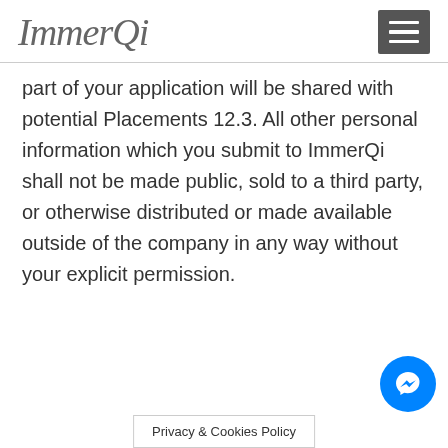ImmerQi
part of your application will be shared with potential Placements 12.3. All other personal information which you submit to ImmerQi shall not be made public, sold to a third party, or otherwise distributed or made available outside of the company in any way without your explicit permission.
Privacy & Cookies Policy